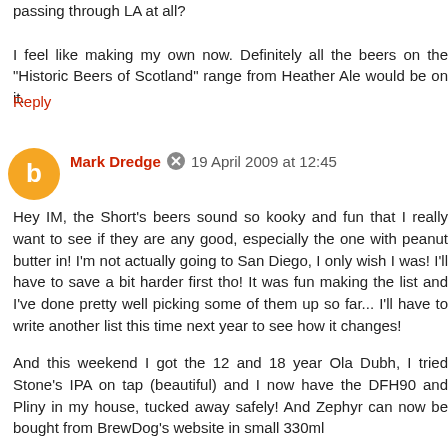passing through LA at all?
I feel like making my own now. Definitely all the beers on the "Historic Beers of Scotland" range from Heather Ale would be on it.
Reply
Mark Dredge  19 April 2009 at 12:45
Hey IM, the Short's beers sound so kooky and fun that I really want to see if they are any good, especially the one with peanut butter in! I'm not actually going to San Diego, I only wish I was! I'll have to save a bit harder first tho! It was fun making the list and I've done pretty well picking some of them up so far... I'll have to write another list this time next year to see how it changes!
And this weekend I got the 12 and 18 year Ola Dubh, I tried Stone's IPA on tap (beautiful) and I now have the DFH90 and Pliny in my house, tucked away safely! And Zephyr can now be bought from BrewDog's website in small 330ml